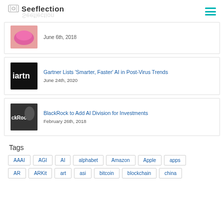Seeflection
June 6th, 2018
Gartner Lists 'Smarter, Faster' AI in Post-Virus Trends
June 24th, 2020
BlackRock to Add AI Division for Investments
February 26th, 2018
Tags
AAAI
AGI
AI
alphabet
Amazon
Apple
apps
AR
ARKit
art
asi
bitcoin
blockchain
china